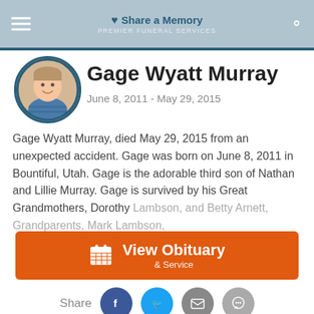Share a Memory · PREMIER FUNERAL SERVICES
Gage Wyatt Murray
June 8, 2011 - May 29, 2015
Gage Wyatt Murray, died May 29, 2015 from an unexpected accident. Gage was born on June 8, 2011 in Bountiful, Utah. Gage is the adorable third son of Nathan and Lillie Murray. Gage is survived by his Great Grandmothers, Dorothy Lambson, and Betty Arnett, Grandparents, Mark Lambson,
View Obituary & Service
Share